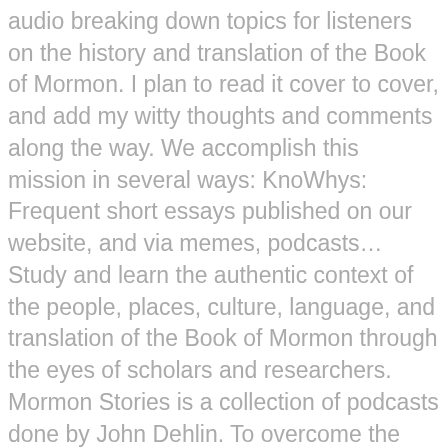audio breaking down topics for listeners on the history and translation of the Book of Mormon. I plan to read it cover to cover, and add my witty thoughts and comments along the way. We accomplish this mission in several ways: KnoWhys: Frequent short essays published on our website, and via memes, podcasts… Study and learn the authentic context of the people, places, culture, language, and translation of the Book of Mormon through the eyes of scholars and researchers. Mormon Stories is a collection of podcasts done by John Dehlin. To overcome the natural man? 2019 Laura F. Willes Book of Mormon Lecture, with Grant Hardy and Brian Kershisnik LDS Perspectives Podcast, interview with Grant Hardy Grant Hardy, “ A New Resource for Studying the Book of Mormon That Can Help You Understand the Scriptures at a Deeper Level ,” LDS Living Book of Mormon History provides easy access to current research for personal study. One religious book I haven’t tackled yet, however, is The Book of Mormon. Join our weekly in depth discussions and insights to